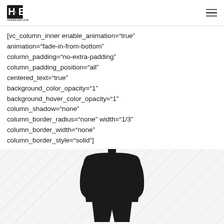H4E Hemp4Everyone logo and hamburger menu
[vc_column_inner enable_animation="true" animation="fade-in-from-bottom" column_padding="no-extra-padding" column_padding_position="all" centered_text="true" background_color_opacity="1" background_hover_color_opacity="1" column_shadow="none" column_border_radius="none" width="1/3" column_border_width="none" column_border_style="solid"]
[Figure (illustration): Black silhouette of a human figure (upper body and head) on a diagonal striped light grey background, positioned at the bottom of the page.]